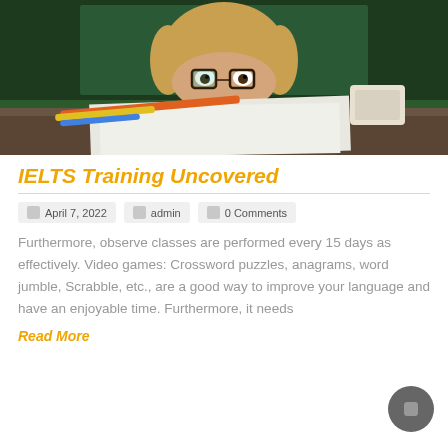[Figure (photo): Child with glasses peeking over a desk with colored pencils and papers, in front of a chalkboard background]
IELTS Training Uncovered
April 7, 2022   admin   0 Comments
Furthermore, observe classes are performed every 15 days as effectively. Video games: Crossword puzzles, anagrams, word jumble, Scrabble, etc., are a good way to improve your language and have an enjoyable time. Furthermore, it needs
Read More